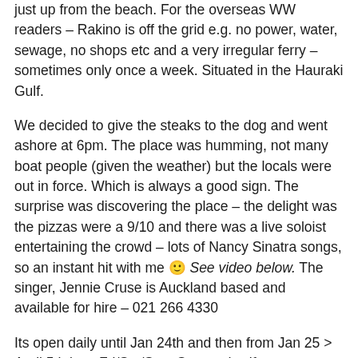just up from the beach. For the overseas WW readers – Rakino is off the grid e.g. no power, water, sewage, no shops etc and a very irregular ferry – sometimes only once a week. Situated in the Hauraki Gulf.
We decided to give the steaks to the dog and went ashore at 6pm. The place was humming, not many boat people (given the weather) but the locals were out in force. Which is always a good sign. The surprise was discovering the place – the delight was the pizzas were a 9/10 and there was a live soloist entertaining the crowd – lots of Nancy Sinatra songs, so an instant hit with me 🙂 See video below. The singer, Jennie Cruse is Auckland based and available for hire – 021 266 4330
Its open daily until Jan 24th and then from Jan 25 > April 5th its – Fri/Sat/Sun. So woodys if you are at Rakino or